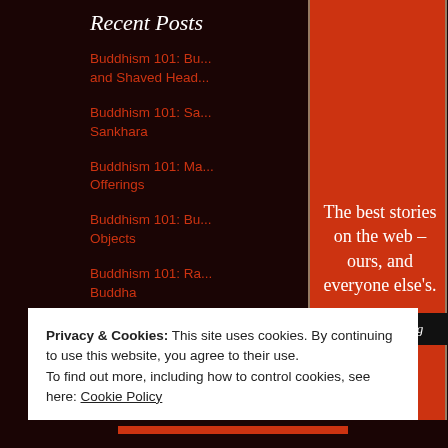Recent Posts
Buddhism 101: Bu... and Shaved Head...
Buddhism 101: Sa... Sankhara
Buddhism 101: Ma... Offerings
Buddhism 101: Bu... Objects
Buddhism 101: Ra... Buddha
[Figure (infographic): Promotional red column banner with text: The best stories on the web – ours, and everyone else's. With a Start reading button.]
Privacy & Cookies: This site uses cookies. By continuing to use this website, you agree to their use.
To find out more, including how to control cookies, see here: Cookie Policy
Close and accept